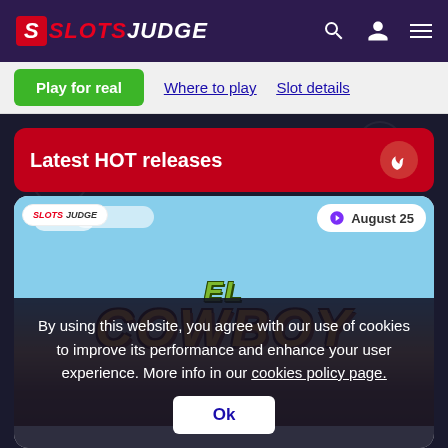SLOTS JUDGE
Play for real | Where to play | Slot details
Latest HOT releases
[Figure (screenshot): El Cowboy game card with logo image showing colorful western-themed slot game artwork with blue sky background]
By using this website, you agree with our use of cookies to improve its performance and enhance your user experience. More info in our cookies policy page. Ok